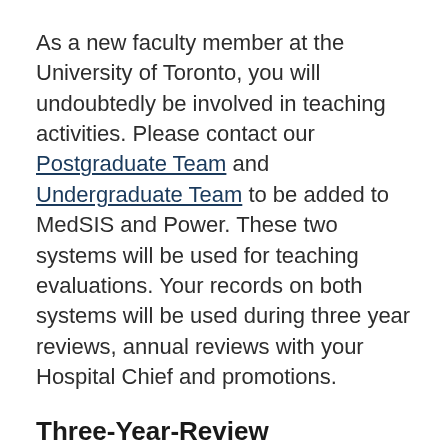As a new faculty member at the University of Toronto, you will undoubtedly be involved in teaching activities. Please contact our Postgraduate Team and Undergraduate Team to be added to MedSIS and Power. These two systems will be used for teaching evaluations. Your records on both systems will be used during three year reviews, annual reviews with your Hospital Chief and promotions.
Three-Year-Review
All full time Clinical Faculty members at the